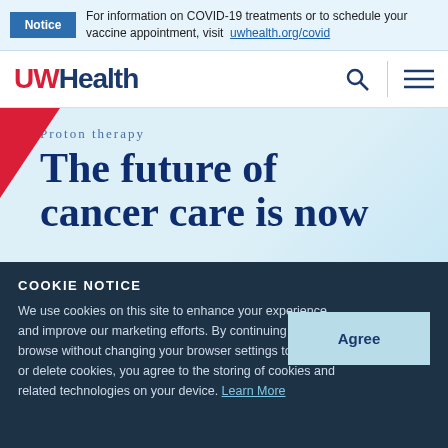Notice — For information on COVID-19 treatments or to schedule your vaccine appointment, visit uwhealth.org/covid
[Figure (logo): UWHealth logo with UW in red and Health in dark navy blue]
Proton therapy
The future of cancer care is now
COOKIE NOTICE
We use cookies on this site to enhance your experience and improve our marketing efforts. By continuing to browse without changing your browser settings to block or delete cookies, you agree to the storing of cookies and related technologies on your device. Learn More